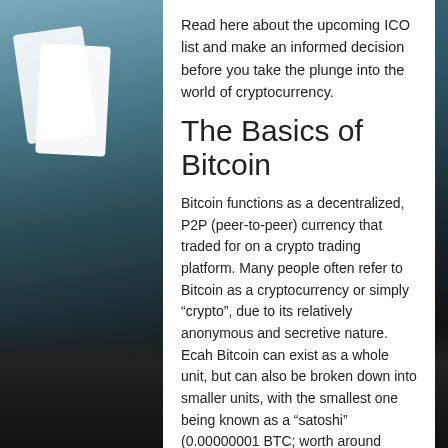Read here about the upcoming ICO list and make an informed decision before you take the plunge into the world of cryptocurrency.
The Basics of Bitcoin
Bitcoin functions as a decentralized, P2P (peer-to-peer) currency that traded for on a crypto trading platform. Many people often refer to Bitcoin as a cryptocurrency or simply “crypto”, due to its relatively anonymous and secretive nature. Ecah Bitcoin can exist as a whole unit, but can also be broken down into smaller units, with the smallest one being known as a “satoshi” (0.00000001 BTC; worth around 1/2000000th of a penny at the time of this publication). If you want to start a job as a